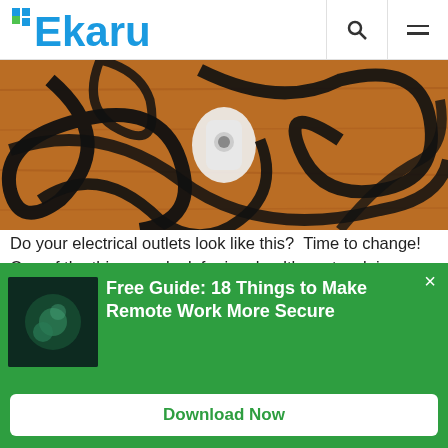Ekaru
[Figure (photo): Tangled black power cables on a wooden surface with a white power strip/outlet in the center]
Do your electrical outlets look like this?  Time to change!  One of the things we look for in a healthy network is proper power management.  For maximum uptime, and to protect your digital investments, it's time to clean house and get your power management in order.
Free Guide: 18 Things to Make Remote Work More Secure
Download Now